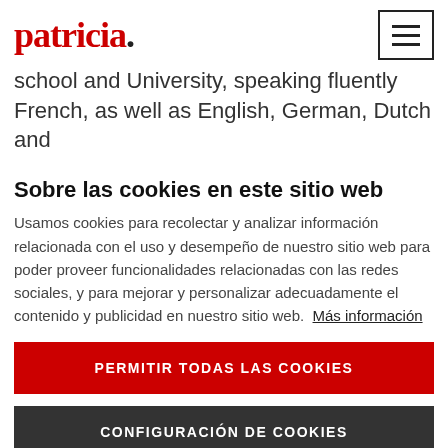patricia.
school and University, speaking fluently French, as well as English, German, Dutch and
Sobre las cookies en este sitio web
Usamos cookies para recolectar y analizar información relacionada con el uso y desempeño de nuestro sitio web para poder proveer funcionalidades relacionadas con las redes sociales, y para mejorar y personalizar adecuadamente el contenido y publicidad en nuestro sitio web. Más información
PERMITIR TODAS LAS COOKIES
CONFIGURACIÓN DE COOKIES